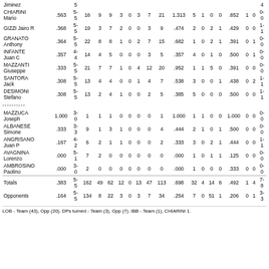| Player | AVG | GP-GS | AB | R | H | 2B | 3B | HR | RBI | TB | SLG% | BB | HBP | SO | GDP | OB% | SF | SH | AB-HR-BI |
| --- | --- | --- | --- | --- | --- | --- | --- | --- | --- | --- | --- | --- | --- | --- | --- | --- | --- | --- | --- |
| JIMINEZ |  | 5 |  |  |  |  |  |  |  |  |  |  |  |  |  |  |  |  | 4 |
| CHIARINI Mario | .563 | 5-5 | 16 | 9 | 9 | 3 | 0 | 3 | 7 | 21 | 1.313 | 5 | 1 | 0 | 0 | .652 | 1 | 0 | 0-0 |
| GIZZI Jairo R | .368 | 5-5 | 19 | 3 | 7 | 2 | 0 | 0 | 3 | 9 | .474 | 2 | 0 | 2 | 1 | .429 | 0 | 0 | 1-1 |
| GRANATO Anthony | .364 | 5-5 | 22 | 8 | 8 | 1 | 0 | 2 | 7 | 15 | .682 | 1 | 0 | 2 | 1 | .391 | 0 | 1 | 0-0 |
| INFANTE Juan C | .357 | 4-4 | 14 | 4 | 5 | 0 | 0 | 0 | 3 | 5 | .357 | 4 | 0 | 1 | 0 | .500 | 0 | 1 | 0-0 |
| MAZZANTI Giuseppe | .333 | 5-5 | 21 | 7 | 7 | 1 | 0 | 4 | 12 | 20 | .952 | 1 | 1 | 5 | 0 | .391 | 0 | 0 | 0-0 |
| SANTORA Jack | .308 | 5-5 | 13 | 4 | 4 | 0 | 0 | 1 | 4 | 7 | .538 | 3 | 0 | 0 | 1 | .438 | 0 | 2 | 1-1 |
| DESIMONI Stefano | .308 | 5-5 | 13 | 2 | 4 | 1 | 0 | 0 | 2 | 5 | .385 | 5 | 0 | 0 | 0 | .500 | 0 | 0 | 1-1 |
| ---------- |  |  |  |  |  |  |  |  |  |  |  |  |  |  |  |  |  |  |  |
| MAZZUCA Joseph | 1.000 | 3-0 | 1 | 1 | 1 | 0 | 0 | 0 | 0 | 1 | 1.000 | 1 | 1 | 0 | 0 | 1.000 | 0 | 0 | 0-0 |
| ALBANESE Simone | .333 | 3-3 | 9 | 1 | 3 | 1 | 0 | 0 | 0 | 4 | .444 | 2 | 1 | 0 | 1 | .500 | 0 | 0 | 0-0 |
| ANGRISANO Juan P | .167 | 4-2 | 6 | 2 | 1 | 1 | 0 | 0 | 0 | 2 | .333 | 3 | 0 | 2 | 1 | .444 | 0 | 0 | 1-1 |
| AVAGNINA Lorenzo | .000 | 5-1 | 7 | 2 | 0 | 0 | 0 | 0 | 0 | 0 | .000 | 1 | 0 | 1 | 1 | .125 | 0 | 0 | 0-0 |
| AMBROSINO Paolino | .000 | 3-0 | 2 | 0 | 0 | 0 | 0 | 0 | 0 | 0 | .000 | 1 | 0 | 0 | 0 | .333 | 0 | 0 | 0-0 |
| Totals | .383 | 5-5 | 162 | 49 | 62 | 12 | 0 | 13 | 47 | 113 | .698 | 32 | 4 | 14 | 6 | .492 | 1 | 4 | 7-8 |
| Opponents | .164 | 5-5 | 134 | 8 | 22 | 3 | 0 | 3 | 7 | 34 | .254 | 7 | 0 | 51 | 1 | .206 | 0 | 1 | 3-3 |
LOB - Team (43), Opp (20). DPs turned - Team (3), Opp (7). IBB - Team (1), CHIARINI 1.